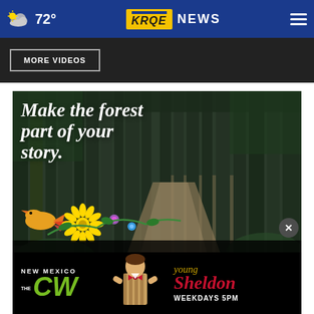☁ 72° | KRQE NEWS
More Videos
[Figure (photo): Forest advertisement: tall trees with path, text 'Make the forest part of your story.' with colorful folk-art flowers and birds. Discover the FOREST.org. Ad Council and US Forest Service logos.]
[Figure (photo): New Mexico CW TV advertisement for Young Sheldon, weekdays 5PM, featuring a child with bow-tie.]